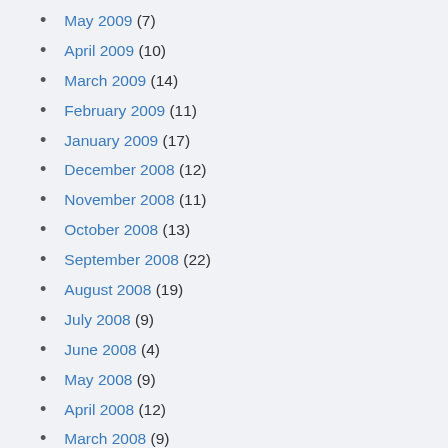May 2009 (7)
April 2009 (10)
March 2009 (14)
February 2009 (11)
January 2009 (17)
December 2008 (12)
November 2008 (11)
October 2008 (13)
September 2008 (22)
August 2008 (19)
July 2008 (9)
June 2008 (4)
May 2008 (9)
April 2008 (12)
March 2008 (9)
February 2008 (19)
January 2008 (13)